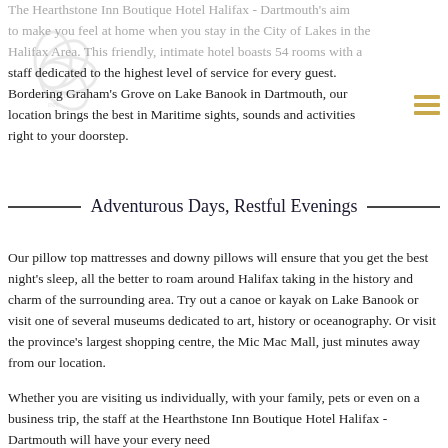[Figure (logo): Circular logo with overlapping oval/leaf shapes forming a flower-like emblem, shown faded in background]
The Hearthstone Inn Boutique Hotel Halifax - Dartmouth's aim to make you feel at home when you stay in the City of Lakes in the Halifax Area. This friendly, intimate hotel boasts 54 rooms with a staff dedicated to the highest level of service for every guest. Bordering Graham's Grove on Lake Banook in Dartmouth, our location brings the best in Maritime sights, sounds and activities right to your doorstep.
Adventurous Days, Restful Evenings
Our pillow top mattresses and downy pillows will ensure that you get the best night's sleep, all the better to roam around Halifax taking in the history and charm of the surrounding area. Try out a canoe or kayak on Lake Banook or visit one of several museums dedicated to art, history or oceanography. Or visit the province's largest shopping centre, the Mic Mac Mall, just minutes away from our location.
Whether you are visiting us individually, with your family, pets or even on a business trip, the staff at the Hearthstone Inn Boutique Hotel Halifax - Dartmouth will have your every need